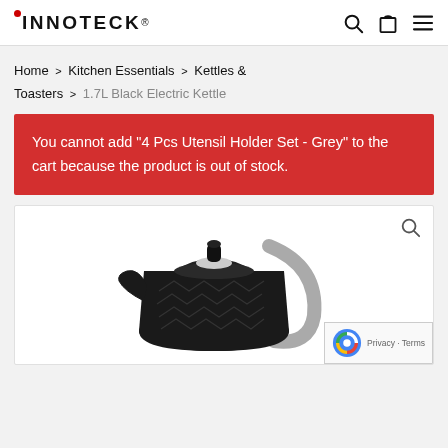INNOTECK
Home > Kitchen Essentials > Kettles & Toasters > 1.7L Black Electric Kettle
You cannot add "4 Pcs Utensil Holder Set - Grey" to the cart because the product is out of stock.
[Figure (photo): 1.7L Black Electric Kettle product photo on white background with zoom icon]